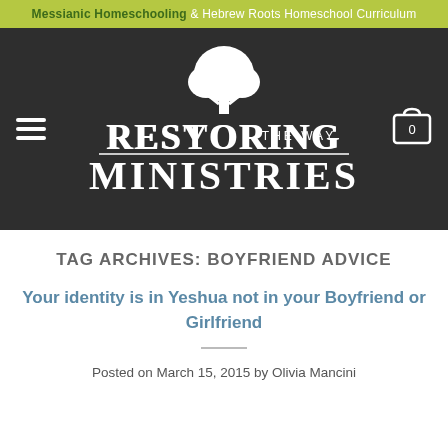Messianic Homeschooling & Hebrew Roots Homeschool Curriculum
[Figure (logo): Restoring the Way Ministries logo with tree icon on dark background, with hamburger menu icon on left and cart icon on right]
TAG ARCHIVES: BOYFRIEND ADVICE
Your identity is in Yeshua not in your Boyfriend or Girlfriend
Posted on March 15, 2015 by Olivia Mancini